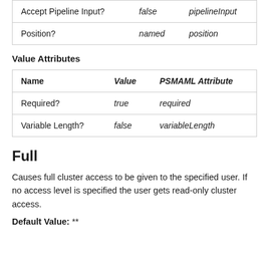| Name | Value | PSMAML Attribute |
| --- | --- | --- |
| Accept Pipeline Input? | false | pipelineInput |
| Position? | named | position |
Value Attributes
| Name | Value | PSMAML Attribute |
| --- | --- | --- |
| Required? | true | required |
| Variable Length? | false | variableLength |
Full
Causes full cluster access to be given to the specified user. If no access level is specified the user gets read-only cluster access.
Default Value: **